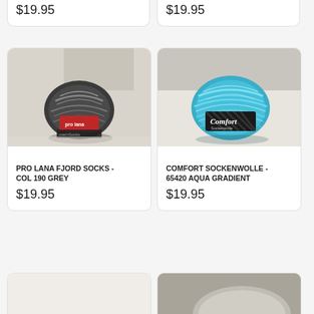$19.95
$19.95
[Figure (photo): Skein of dark grey/black marled sock yarn with red brand label reading 'pro lana socks']
[Figure (photo): Skein of aqua/teal gradient sock yarn with black label reading 'Comfort Sockenwolle', displayed near a fluffy grey background]
PRO LANA FJORD SOCKS - COL 190 GREY
$19.95
COMFORT SOCKENWOLLE - 65420 AQUA GRADIENT
$19.95
[Figure (photo): Partial view of a yarn product (bottom of page, cut off)]